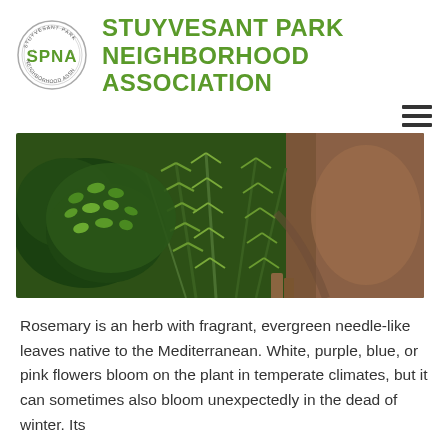STUYVESANT PARK NEIGHBORHOOD ASSOCIATION
[Figure (photo): Close-up photograph of green herbs including rosemary and other plants growing in a garden bed with dark soil visible on the right side]
Rosemary is an herb with fragrant, evergreen needle-like leaves native to the Mediterranean. White, purple, blue, or pink flowers bloom on the plant in temperate climates, but it can sometimes also bloom unexpectedly in the dead of winter. Its